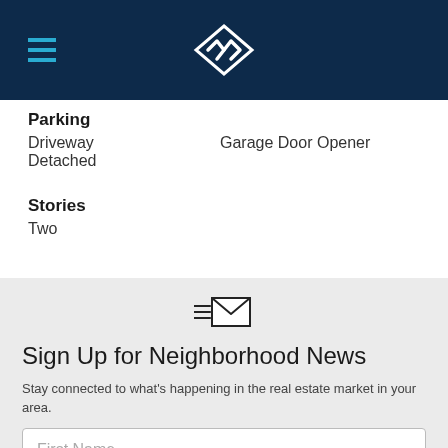[Figure (logo): Dark navy header bar with hamburger menu icon on left (three horizontal cyan lines) and a white geometric diamond/arrow logo in the center]
Parking
Driveway
Detached
Garage Door Opener
Stories
Two
[Figure (infographic): Newsletter signup section with envelope icon, title 'Sign Up for Neighborhood News', description text, and First Name input field]
Sign Up for Neighborhood News
Stay connected to what's happening in the real estate market in your area.